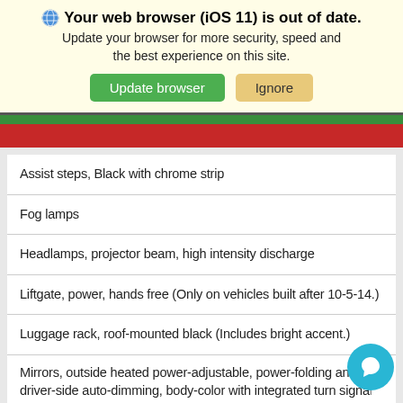🌐 Your web browser (iOS 11) is out of date. Update your browser for more security, speed and the best experience on this site.
Update browser | Ignore
| Assist steps, Black with chrome strip |
| Fog lamps |
| Headlamps, projector beam, high intensity discharge |
| Liftgate, power, hands free (Only on vehicles built after 10-5-14.) |
| Luggage rack, roof-mounted black (Includes bright accent.) |
| Mirrors, outside heated power-adjustable, power-folding and driver-side auto-dimming, body-color with integrated turn signal indicators and ground illumination |